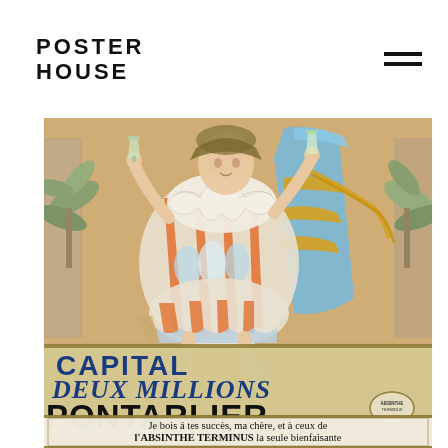POSTER HOUSE
[Figure (illustration): Vintage French poster for Absinthe Terminus, Pontarlier. Shows a figure in colorful striped harlequin costume holding a glass, with a woman in a blue dress beside them. Text on poster reads: CAPITAL DEUX MILLIONS PONTARLIER / Je bois á tes succès, ma chère, et à ceux de l'ABSINTHE TERMINUS la seule bienfaisante]